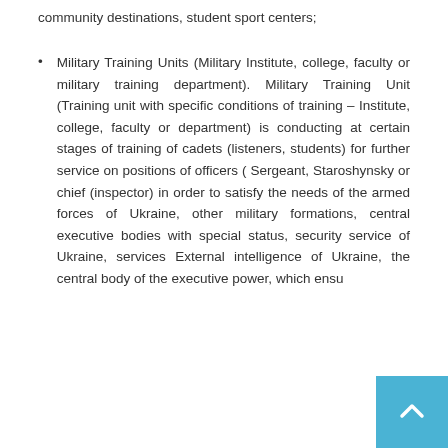community destinations, student sport centers;
Military Training Units (Military Institute, college, faculty or military training department). Military Training Unit (Training unit with specific conditions of training – Institute, college, faculty or department) is conducting at certain stages of training of cadets (listeners, students) for further service on positions of officers ( Sergeant, Staroshynsky or chief (inspector) in order to satisfy the needs of the armed forces of Ukraine, other military formations, central executive bodies with special status, security service of Ukraine, services External intelligence of Ukraine, the central body of the executive power, which ensu